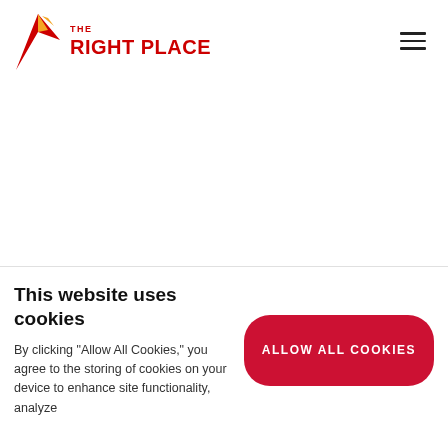[Figure (logo): The Right Place logo with red and yellow arrow/wing graphic and red text reading THE RIGHT PLACE]
This website uses cookies
By clicking "Allow All Cookies," you agree to the storing of cookies on your device to enhance site functionality, analyze
ALLOW ALL COOKIES